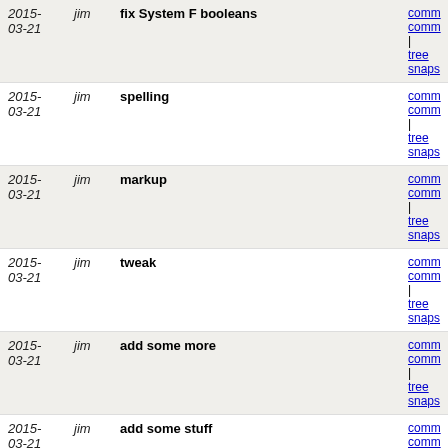| Date | Author | Message | Links |
| --- | --- | --- | --- |
| 2015-03-21 | jim | fix System F booleans | commitcommit| treesnaps |
| 2015-03-21 | jim | spelling | commitcommit| treesnaps |
| 2015-03-21 | jim | markup | commitcommit| treesnaps |
| 2015-03-21 | jim | tweak | commitcommit| treesnaps |
| 2015-03-21 | jim | add some more | commitcommit| treesnaps |
| 2015-03-21 | jim | add some stuff | commitcommit| treesnaps |
| 2015-03-21 | jim | more answers | commitcommit| treesnaps |
| 2015-03-21 | jim | add some more | commitcommit| treesnaps |
| 2015-03-21 | jim | add some answers | commitcommit| treesnaps |
| 2015-03-21 | jim | add hints | commitcommit| treesnaps |